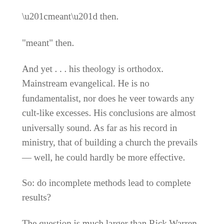“meant” then.
And yet . . . his theology is orthodox. Mainstream evangelical. He is no fundamentalist, nor does he veer towards any cult-like excesses. His conclusions are almost universally sound. As far as his record in ministry, that of building a church the prevails — well, he could hardly be more effective.
So: do incomplete methods lead to complete results?
The question is much larger than Rick Warren. There’s been a great deal of consternation in the Methodist blogosphere (yes, it exists) over Beth Moore’s theology and visibility in our